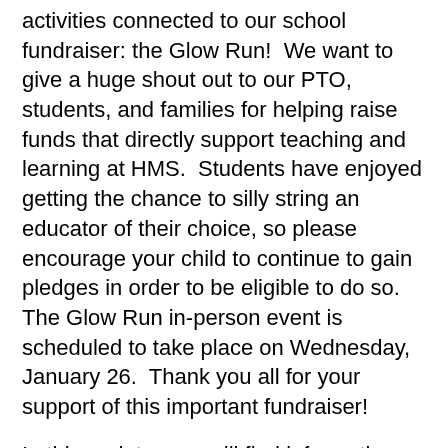activities connected to our school fundraiser: the Glow Run!  We want to give a huge shout out to our PTO, students, and families for helping raise funds that directly support teaching and learning at HMS.  Students have enjoyed getting the chance to silly string an educator of their choice, so please encourage your child to continue to gain pledges in order to be eligible to do so.  The Glow Run in-person event is scheduled to take place on Wednesday, January 26.  Thank you all for your support of this important fundraiser!
In this update, you will find information about the following topics:
SEL Resource
Next Storm Day